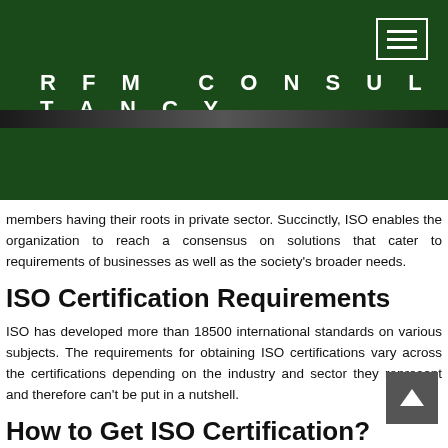RFM CONSULTANCY
members having their roots in private sector. Succinctly, ISO enables the organization to reach a consensus on solutions that cater to requirements of businesses as well as the society's broader needs.
ISO Certification Requirements
ISO has developed more than 18500 international standards on various subjects. The requirements for obtaining ISO certifications vary across the certifications depending on the industry and sector they represent and therefore can't be put in a nutshell.
How to Get ISO Certification?